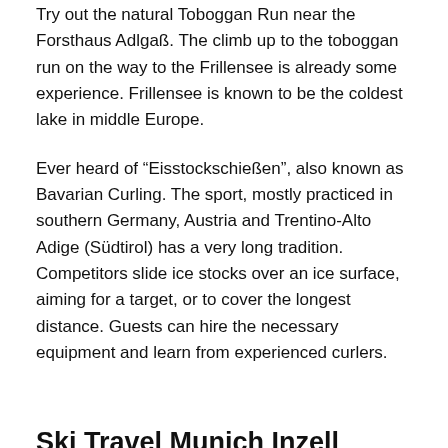Try out the natural Toboggan Run near the Forsthaus Adlgaß. The climb up to the toboggan run on the way to the Frillensee is already some experience. Frillensee is known to be the coldest lake in middle Europe.
Ever heard of “Eisstockschießen”, also known as Bavarian Curling. The sport, mostly practiced in southern Germany, Austria and Trentino-Alto Adige (Südtirol) has a very long tradition. Competitors slide ice stocks over an ice surface, aiming for a target, or to cover the longest distance. Guests can hire the necessary equipment and learn from experienced curlers.
Ski Travel Munich Inzell made easy